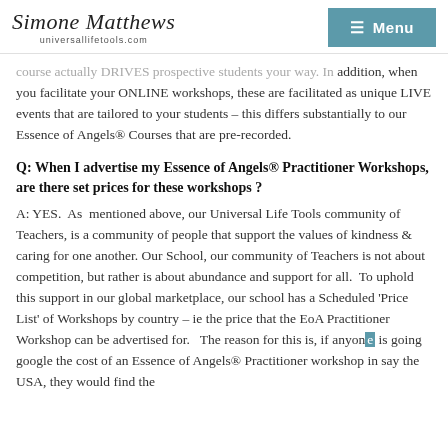Simone Matthews universallifetools.com | Menu
course actually DRIVES prospective students your way. In addition, when you facilitate your ONLINE workshops, these are facilitated as unique LIVE events that are tailored to your students – this differs substantially to our Essence of Angels® Courses that are pre-recorded.
Q: When I advertise my Essence of Angels® Practitioner Workshops, are there set prices for these workshops ?
A: YES.  As  mentioned above, our Universal Life Tools community of Teachers, is a community of people that support the values of kindness & caring for one another.  Our School, our community of Teachers is not about competition, but rather is about abundance and support for all.  To uphold this support in our global marketplace, our school has a Scheduled 'Price List' of Workshops by country – ie the price that the EoA Practitioner Workshop can be advertised for.   The reason for this is, if anyone is going google the cost of an Essence of Angels® Practitioner workshop in say the USA, they would find the